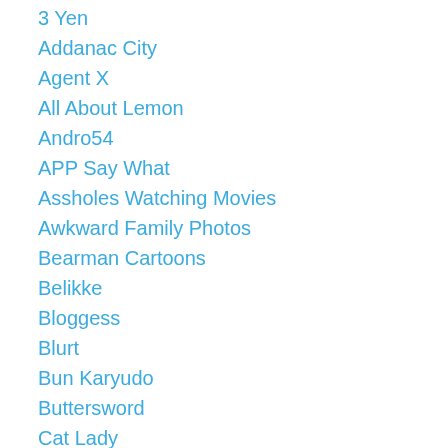3 Yen
Addanac City
Agent X
All About Lemon
Andro54
APP Say What
Assholes Watching Movies
Awkward Family Photos
Bearman Cartoons
Belikke
Bloggess
Blurt
Bun Karyudo
Buttersword
Cat Lady
Challenge Accepted
Cheaper than Therapy
Cooper Green
Corn Bread
Corvo Da Costa